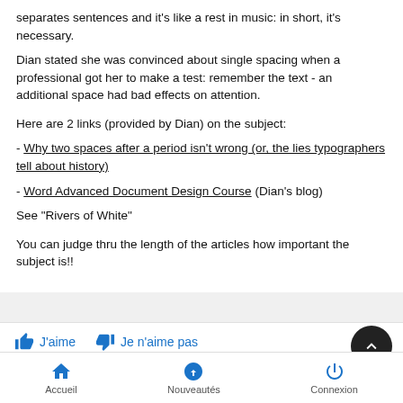separates sentences and it's like a rest in music: in short, it's necessary.
Dian stated she was convinced about single spacing when a professional got her to make a test: remember the text - an additional space had bad effects on attention.
Here are 2 links (provided by Dian) on the subject:
- Why two spaces after a period isn't wrong (or, the lies typographers tell about history)
- Word Advanced Document Design Course (Dian's blog)
See "Rivers of White"
You can judge thru the length of the articles how important the subject is!!
J'aime   Je n'aime pas
Accueil   Nouveautés   Connexion